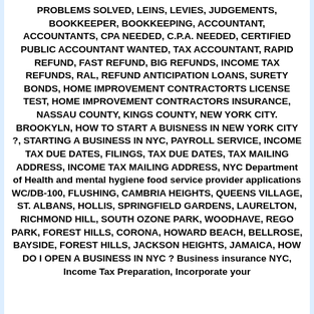PROBLEMS SOLVED, LEINS, LEVIES, JUDGEMENTS, BOOKKEEPER, BOOKKEEPING, ACCOUNTANT, ACCOUNTANTS, CPA NEEDED, C.P.A. NEEDED, CERTIFIED PUBLIC ACCOUNTANT WANTED, TAX ACCOUNTANT, RAPID REFUND, FAST REFUND, BIG REFUNDS, INCOME TAX REFUNDS, RAL, REFUND ANTICIPATION LOANS, SURETY BONDS, HOME IMPROVEMENT CONTRACTORTS LICENSE TEST, HOME IMPROVEMENT CONTRACTORS INSURANCE, NASSAU COUNTY, KINGS COUNTY, NEW YORK CITY. BROOKYLN, HOW TO START A BUISNESS IN NEW YORK CITY ?, STARTING A BUSINESS IN NYC, PAYROLL SERVICE, INCOME TAX DUE DATES, FILINGS, TAX DUE DATES, TAX MAILING ADDRESS, INCOME TAX MAILING ADDRESS, NYC Department of Health and mental hygiene food service provider applications WC/DB-100, FLUSHING, CAMBRIA HEIGHTS, QUEENS VILLAGE, ST. ALBANS, HOLLIS, SPRINGFIELD GARDENS, LAURELTON, RICHMOND HILL, SOUTH OZONE PARK, WOODHAVE, REGO PARK, FOREST HILLS, CORONA, HOWARD BEACH, BELLROSE, BAYSIDE, FOREST HILLS, JACKSON HEIGHTS, JAMAICA, HOW DO I OPEN A BUSINESS IN NYC ? Business insurance NYC, Income Tax Preparation, Incorporate your